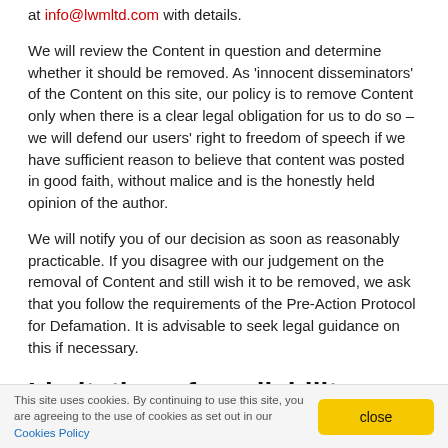at info@lwmltd.com with details.
We will review the Content in question and determine whether it should be removed. As 'innocent disseminators' of the Content on this site, our policy is to remove Content only when there is a clear legal obligation for us to do so – we will defend our users' right to freedom of speech if we have sufficient reason to believe that content was posted in good faith, without malice and is the honestly held opinion of the author.
We will notify you of our decision as soon as reasonably practicable. If you disagree with our judgement on the removal of Content and still wish it to be removed, we ask that you follow the requirements of the Pre-Action Protocol for Defamation. It is advisable to seek legal guidance on this if necessary.
Limitation of our liability
Nothing in these terms of use excludes or limits our liability for death or personal injury arising from our negligence, or our fraud or fraudulent misrepresentation, or any other liability that
This site uses cookies. By continuing to use this site, you are agreeing to the use of cookies as set out in our Cookies Policy